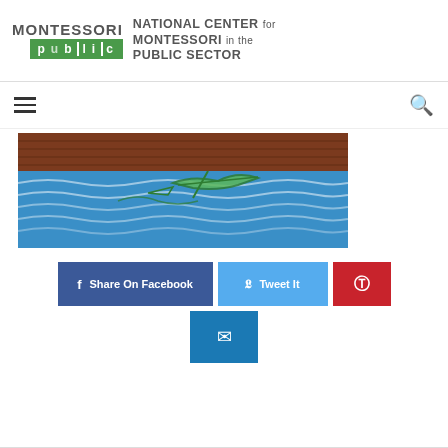[Figure (logo): Montessori Public logo with green box and text 'NATIONAL CENTER for MONTESSORI in the PUBLIC SECTOR']
[Figure (illustration): Child's crayon drawing showing a brown dock/pier over blue ocean water with a green fish or leaf shape]
Share On Facebook
Tweet It
Pinterest share button
Email share button